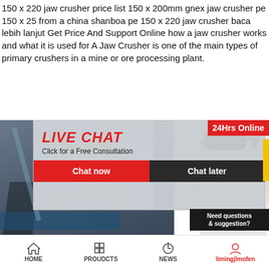150 x 220 jaw crusher price list 150 x 200mm gnex jaw crusher pe 150 x 25 from a china shanboa pe 150 x 220 jaw crusher baca lebih lanjut Get Price And Support Online how a jaw crusher works and what it is used for A Jaw Crusher is one of the main types of primary crushers in a mine or ore processing plant.
[Figure (screenshot): Screenshot of a webpage showing a live chat popup overlay with workers in hard hats, LIVE CHAT heading in red, 'Click for a Free Consultation' text, Chat now and Chat later buttons, a portrait of a customer service woman with headset on the right, and a '24Hrs Online' red banner. Below is partial product text about Crusher Used Jaw Machine Price List.]
Crusher Used Jaw Machine Price List Diesel Engine 250*400 Small Laboratory Rock Stone Jaw Crusher. US $700.0 Sets (Min. Order) ... PVOC certificate provided p
HOME  PROUDCTS  NEWS  limingjlmofen